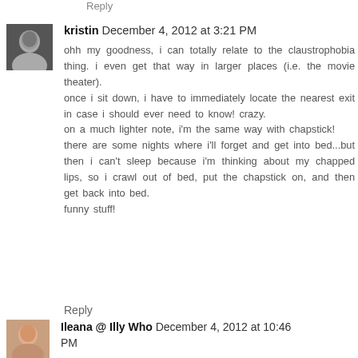Reply
[Figure (photo): Black and white avatar photo of Kristin]
kristin  December 4, 2012 at 3:21 PM
ohh my goodness, i can totally relate to the claustrophobia thing. i even get that way in larger places (i.e. the movie theater).
once i sit down, i have to immediately locate the nearest exit in case i should ever need to know! crazy.
on a much lighter note, i'm the same way with chapstick!
there are some nights where i'll forget and get into bed...but then i can't sleep because i'm thinking about my chapped lips, so i crawl out of bed, put the chapstick on, and then get back into bed.
funny stuff!
Reply
[Figure (photo): Color avatar photo of Ileana]
Ileana @ Illy Who  December 4, 2012 at 10:46 PM